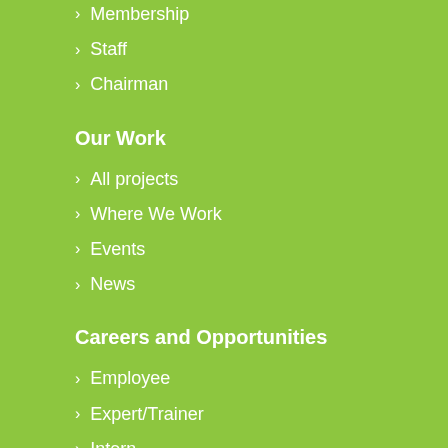Membership
Staff
Chairman
Our Work
All projects
Where We Work
Events
News
Careers and Opportunities
Employee
Expert/Trainer
Intern
Volunteer
Contact info
4, Gabriel Isakadze Street, 0160 Tbilisi, Georgia